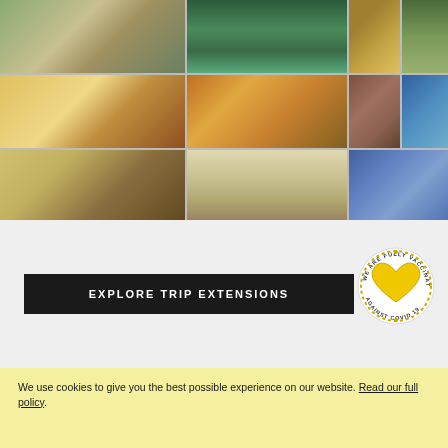[Figure (photo): Photo collage grid showing travel destinations: tropical courtyard, boat on green river, crocodile, llama, cacao fruit and bird, ornate golden church interior, indigenous elder portrait, coastal cliffs, vintage wooden wagon/caravan, white hacienda with couple, blue baroque church facade]
EXPLORE TRIP EXTENSIONS
[Figure (infographic): Circular badge reading 'WE ARE FULLY VACCINATED AGAINST COVID 19' with a yellow heart shape in the center]
We use cookies to give you the best possible experience on our website. Read our full policy.
GOT IT!